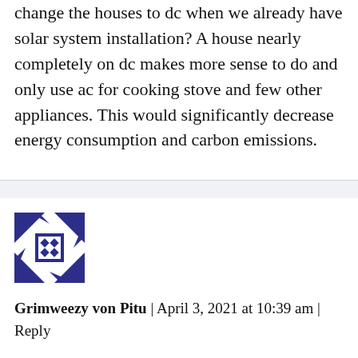change the houses to dc when we already have solar system installation? A house nearly completely on dc makes more sense to do and only use ac for cooking stove and few other appliances. This would significantly decrease energy consumption and carbon emissions.
[Figure (illustration): Blue geometric avatar icon with angular arrow shapes around a central square containing four diamond dots arranged in a 2x2 grid, on white background.]
Grimweezy von Pitu | April 3, 2021 at 10:39 am | Reply
For one, you are all wrong. The time it takes to define this construct is overcome